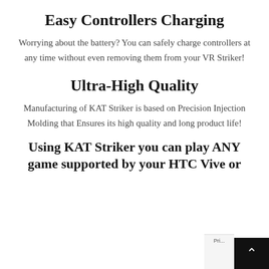Easy Controllers Charging
Worrying about the battery? You can safely charge controllers at any time without even removing them from your VR Striker!
Ultra-High Quality
Manufacturing of KAT Striker is based on Precision Injection Molding that Ensures its high quality and long product life!
Using KAT Striker you can play ANY game supported by your HTC Vive or